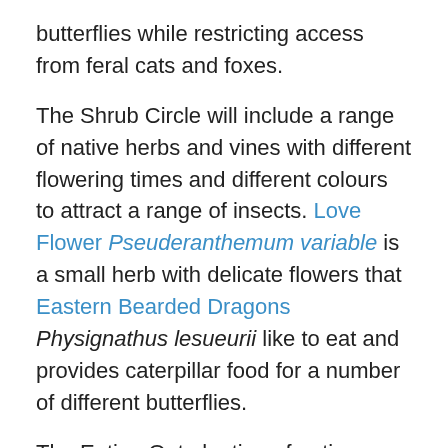butterflies while restricting access from feral cats and foxes.
The Shrub Circle will include a range of native herbs and vines with different flowering times and different colours to attract a range of insects. Love Flower Pseuderanthemum variable is a small herb with delicate flowers that Eastern Bearded Dragons Physignathus lesueurii like to eat and provides caterpillar food for a number of different butterflies.
The Eating Out planting of native grasses will provide year round food for seed eating birds like the Red-browed Finch Neochmia temporalis which will duck out of the safety of the Protective Circle to feed.
Thirty-three participants are registered for the National